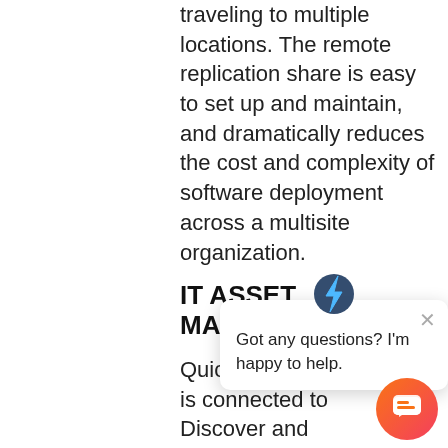traveling to multiple locations. The remote replication share is easy to set up and maintain, and dramatically reduces the cost and complexity of software deployment across a multisite organization.
IT ASSET MANAGEMENT
Quickly see exactly what is connected to... Discover and... hardware an... wide, includi... servers, storage devices, Chromebooks and network-connected non-computer devices. Streamline IT inventory
[Figure (other): Chat widget popup overlay with lightning bolt icon and text 'Got any questions? I'm happy to help.' with close button and orange/pink circular chat button.]